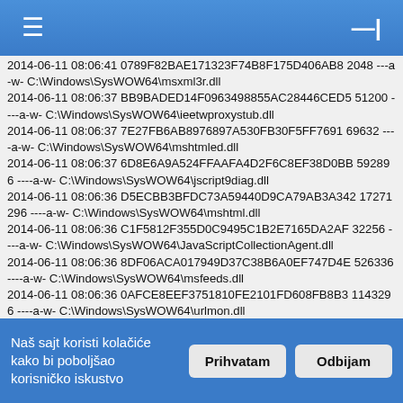≡  —|
2014-06-11 08:06:41 0789F82BAE171323F74B8F175D406AB8 2048 ---a-w- C:\Windows\SysWOW64\msxml3r.dll
2014-06-11 08:06:37 BB9BADED14F0963498855AC28446CED5 51200 ----a-w- C:\Windows\SysWOW64\ieetwproxystub.dll
2014-06-11 08:06:37 7E27FB6AB8976897A530FB30F5FF7691 69632 ----a-w- C:\Windows\SysWOW64\mshtmled.dll
2014-06-11 08:06:37 6D8E6A9A524FFAAFA4D2F6C8EF38D0BB 592896 ----a-w- C:\Windows\SysWOW64\jscript9diag.dll
2014-06-11 08:06:36 D5ECBB3BFDC73A59440D9CA79AB3A342 17271296 ----a-w- C:\Windows\SysWOW64\mshtml.dll
2014-06-11 08:06:36 C1F5812F355D0C9495C1B2E7165DA2AF 32256 ----a-w- C:\Windows\SysWOW64\JavaScriptCollectionAgent.dll
2014-06-11 08:06:36 8DF06ACA017949D37C38B6A0EF747D4E 526336 ----a-w- C:\Windows\SysWOW64\msfeeds.dll
2014-06-11 08:06:36 0AFCE8EEF3751810FE2101FD608FB8B3 1143296 ----a-w- C:\Windows\SysWOW64\urlmon.dll
2014-06-11 08:06:36 017B99D09904DCA35D5F66AD79084B5F 368128 ----a-w- C:\Windows\SysWOW64\dxtmsft.dll
2014-06-11 08:06:34 D9F5B424C307B195E16A9B0A21E53BCC 61952
Naš sajt koristi kolačiće kako bi poboljšao korisničko iskustvo